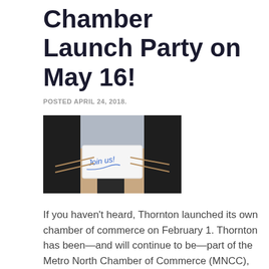Chamber Launch Party on May 16!
POSTED APRIL 24, 2018.
[Figure (photo): Person in suit holding a card that reads 'Join us!' written in blue handwriting]
If you haven't heard, Thornton launched its own chamber of commerce on February 1. Thornton has been—and will continue to be—part of the Metro North Chamber of Commerce (MNCC), an organization that serves 13 cities.
Businesses who join the Thornton Chamber, which will operate as a branch of the MNCC, will